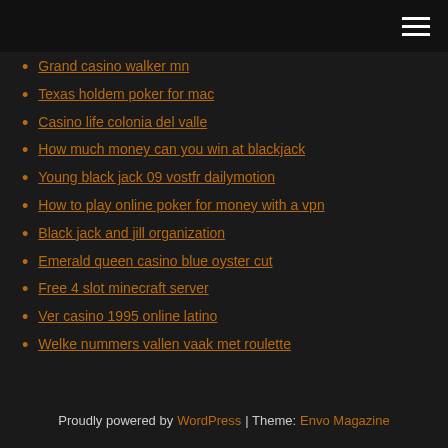Grand casino walker mn
Texas holdem poker for mac
Casino life colonia del valle
How much money can you win at blackjack
Young black jack 09 vostfr dailymotion
How to play online poker for money with a vpn
Black jack and jill organization
Emerald queen casino blue oyster cut
Free 4 slot minecraft server
Ver casino 1995 online latino
Welke nummers vallen vaak met roulette
Proudly powered by WordPress | Theme: Envo Magazine